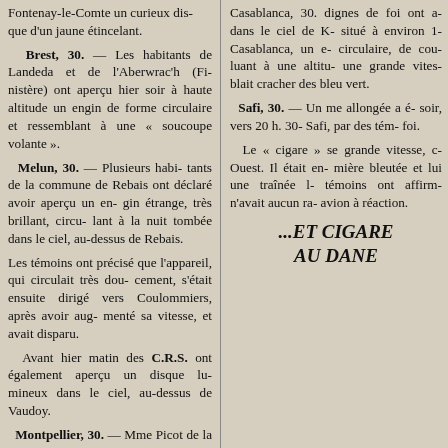Fontenay-le-Comte un curieux disque d'un jaune étincelant.
Brest, 30. — Les habitants de Landeda et de l'Aberwrac'h (Finistère) ont aperçu hier soir à haute altitude un engin de forme circulaire et ressemblant à une « soucoupe volante ».
Melun, 30. — Plusieurs habitants de la commune de Rebais ont déclaré avoir aperçu un engin étrange, très brillant, circulant à la nuit tombée dans le ciel, au-dessus de Rebais.
Les témoins ont précisé que l'appareil, qui circulait très doucement, s'était ensuite dirigé vers Coulommiers, après avoir augmenté sa vitesse, et avait disparu.
Avant hier matin des C.R.S. ont également aperçu un disque lumineux dans le ciel, au-dessus de Vaudoy.
Montpellier, 30. — Mme Picot de la Baume, domiciliée à Montpellier, a déclaré avoir aperçu à une altitude d'environ 1.500 mètres un appareil de forme d...
Casablanca, 30. dignes de foi ont aperçu dans le ciel de Kenitra, situé à environ 17 km de Casablanca, un engin circulaire, de couleur, évoluant à une altitude et à une grande vitesse. Il semblait cracher des flammes bleu vert.
Safi, 30. — Un engin de forme allongée a été aperçu, hier soir, vers 20 h. 30, dans le ciel de Safi, par des témoins dignes de foi.
Le « cigare » se déplaçait à grande vitesse, cap à l'Ouest. Il était entouré d'une lumière bleutée et laissait derrière lui une traînée lumineuse. Les témoins ont affirmé que l'engin n'avait aucun rapport avec un avion à réaction.
...ET CIGARE AU DANE